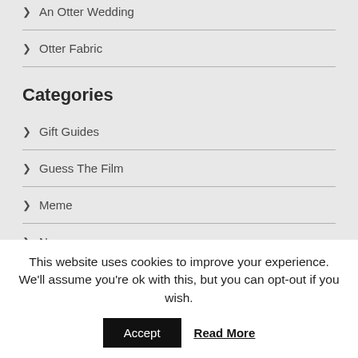An Otter Wedding
Otter Fabric
Categories
Gift Guides
Guess The Film
Meme
News
Otter Artists
This website uses cookies to improve your experience. We'll assume you're ok with this, but you can opt-out if you wish.
Accept
Read More